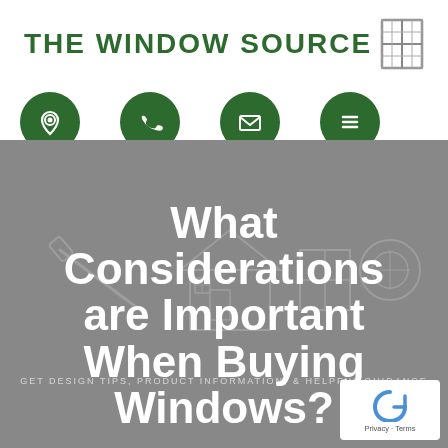THE WINDOW SOURCE
[Figure (illustration): Window icon (grid window frame)]
[Figure (illustration): Four green circle icons: location pin, phone, email envelope, hamburger menu]
[Figure (illustration): Gray hero background with faint outline illustrations of house, tools, windows]
What Considerations are Important When Buying Windows?
GET DESIGN TIPS, PRODUCT INFORMATION, & HELPFUL GUIDANCE
[Figure (logo): reCAPTCHA box with Privacy and Terms text]